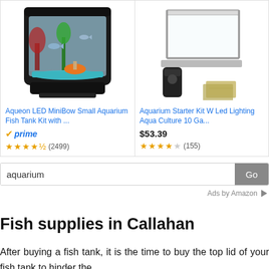[Figure (photo): Photo of Aqueon LED MiniBow Small Aquarium Fish Tank Kit with fish and plants inside]
Aqueon LED MiniBow Small Aquarium Fish Tank Kit with ...
prime (Amazon Prime badge with checkmark)
★★★★½ (2499)
[Figure (photo): Photo of Aquarium Starter Kit with lid, filter components laid out]
Aquarium Starter Kit W Led Lighting Aqua Culture 10 Ga...
$53.39
★★★★☆ (155)
aquarium
Go
Ads by Amazon ▷
Fish supplies in Callahan
After buying a fish tank, it is the time to buy the top lid of your fish tank to hinder the